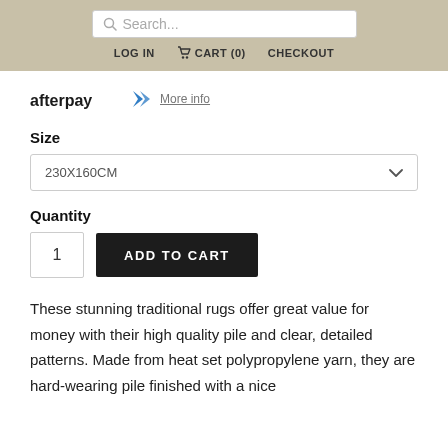Search... | LOG IN | CART (0) | CHECKOUT
[Figure (logo): Afterpay logo with chevron arrow icon]
More info
Size
230X160CM
Quantity
1
ADD TO CART
These stunning traditional rugs offer great value for money with their high quality pile and clear, detailed patterns. Made from heat set polypropylene yarn, they are hard-wearing pile finished with a nice